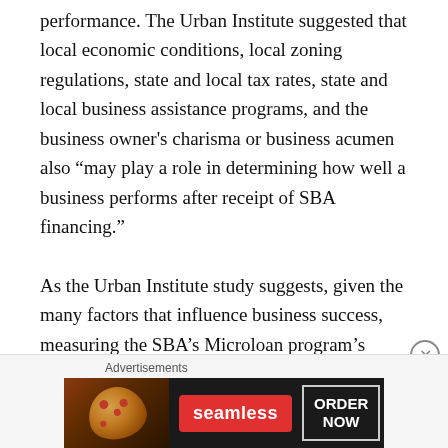performance. The Urban Institute suggested that local economic conditions, local zoning regulations, state and local tax rates, state and local business assistance programs, and the business owner's charisma or business acumen also “may play a role in determining how well a business performs after receipt of SBA financing.”

As the Urban Institute study suggests, given the many factors that influence business success, measuring the SBA’s Microloan program’s effect on job retention and creation is complicated. That task is made even more challenging by the absence of performance-oriented measures that could serve as a guide.
[Figure (other): Advertisement banner for Seamless food ordering service showing pizza image on left, red Seamless logo button in center, and 'ORDER NOW' outlined button on right, on a dark background. Labeled 'Advertisements' above.]